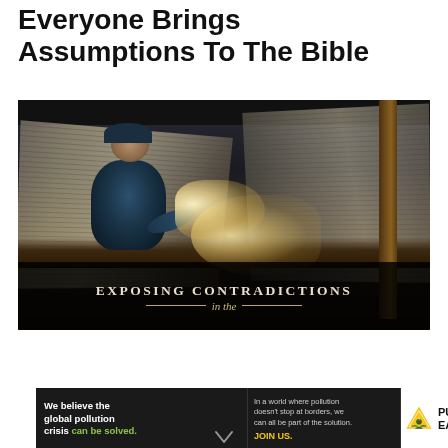Everyone Brings Assumptions To The Bible
[Figure (photo): Person kneeling over a giant open Bible, shining a flashlight on the pages. Text overlay reads 'EXPOSING CONTRADICTIONS in the'. Below the main image is an advertisement banner for Pure Earth: 'We believe the global pollution crisis can be solved. In a world where pollution doesn't stop at borders, we can all be part of the solution. JOIN US. PURE EARTH']